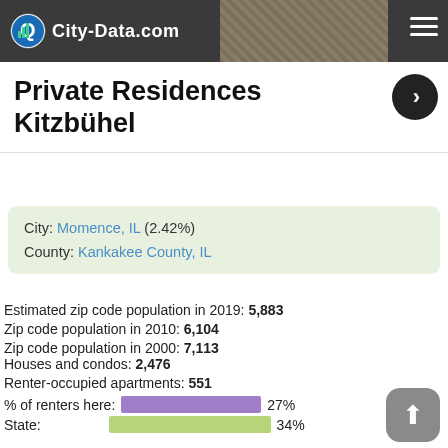City-Data.com
Private Residences Kitzbühel
City: Momence, IL (2.42%)
County: Kankakee County, IL
Estimated zip code population in 2019: 5,883
Zip code population in 2010: 6,104
Zip code population in 2000: 7,113
Houses and condos: 2,476
Renter-occupied apartments: 551
% of renters here: 27%
State: 34%